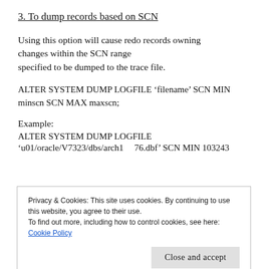3. To dump records based on SCN
Using this option will cause redo records owning changes within the SCN range specified to be dumped to the trace file.
ALTER SYSTEM DUMP LOGFILE ‘filename’ SCN MIN minscn SCN MAX maxscn;
Example:
ALTER SYSTEM DUMP LOGFILE
‘u01/oracle/V7323/dbs/arch1  76.dbf’ SCN MIN 103243
Privacy & Cookies: This site uses cookies. By continuing to use this website, you agree to their use.
To find out more, including how to control cookies, see here:
Cookie Policy

[Close and accept]
the time range specified to be dumped to the trace file.